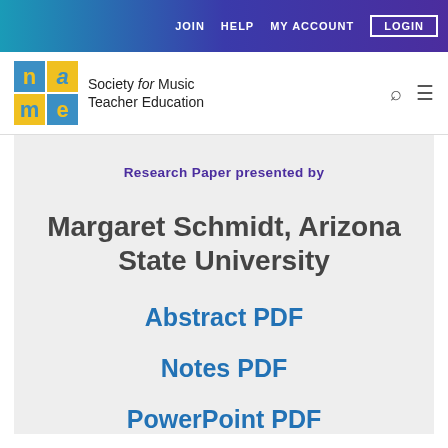JOIN   HELP   MY ACCOUNT   LOGIN
[Figure (logo): NAME (Society for Music Teacher Education) logo with teal and yellow letter tiles]
Research Paper presented by
Margaret Schmidt, Arizona State University
Abstract PDF
Notes PDF
PowerPoint PDF